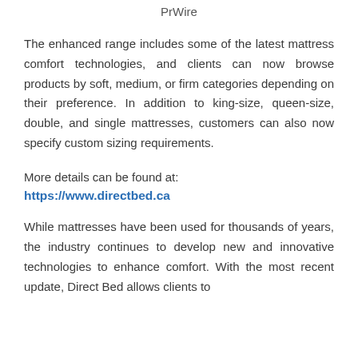PrWire
The enhanced range includes some of the latest mattress comfort technologies, and clients can now browse products by soft, medium, or firm categories depending on their preference. In addition to king-size, queen-size, double, and single mattresses, customers can also now specify custom sizing requirements.
More details can be found at:
https://www.directbed.ca
While mattresses have been used for thousands of years, the industry continues to develop new and innovative technologies to enhance comfort. With the most recent update, Direct Bed allows clients to